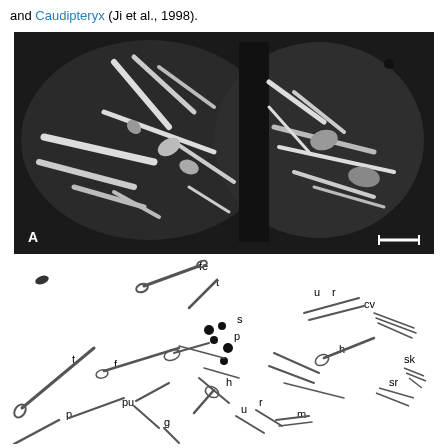and Caudipteryx (Ji et al., 1998).
[Figure (photo): Black and white photograph of a fossil specimen showing two nodules (part and counterpart) of a dinosaur or early bird fossil, displaying bone elements embedded in dark rock matrix. Label 'A' at lower left, with scale bar at lower right.]
[Figure (illustration): Scientific line drawing/diagram of the fossil specimen labeling anatomical elements including: fe (femur), t (tibia), u (ulna), r (radius), cv (cervical vertebrae), s, p, h (humerus), sk (skull), sr, f, pu (pubis), g, m, and others. Black dots indicate gastroliths or other features.]